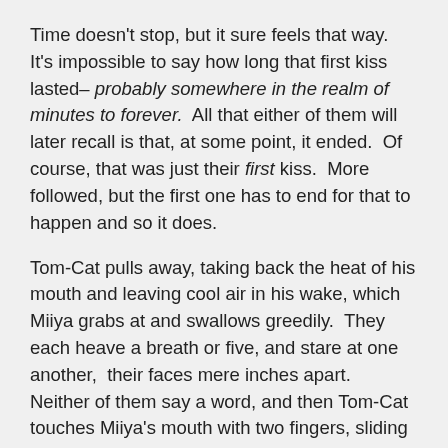Time doesn't stop, but it sure feels that way. It's impossible to say how long that first kiss lasted– probably somewhere in the realm of minutes to forever. All that either of them will later recall is that, at some point, it ended. Of course, that was just their first kiss. More followed, but the first one has to end for that to happen and so it does.
Tom-Cat pulls away, taking back the heat of his mouth and leaving cool air in his wake, which Miiya grabs at and swallows greedily. They each heave a breath or five, and stare at one another, their faces mere inches apart. Neither of them say a word, and then Tom-Cat touches Miiya's mouth with two fingers, sliding them down her chin, before leaning in again.
The thing about first kisses is that they're usually sweet. They're usually memorable. Second, third, and fourth kisses, on the other hand, have no such compunctions. The fifth is usually pretty sloppy, and after that, all bets are off. And by the time you've lost count of the number of kisses, then you can call...